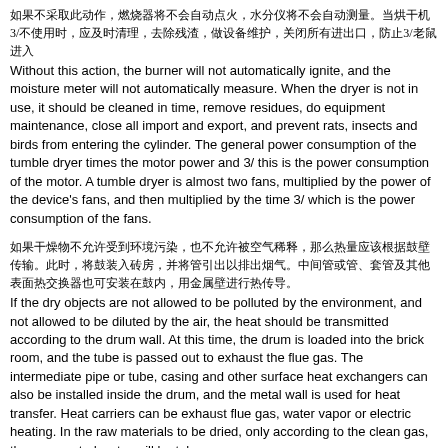如果不采取此动作，燃烧器将不会自动点火，水分仪将不会自动测量。当烘干机3/不使用时，应及时清理，去除残渣，做设备维护，关闭所有进出口，防止3/老鼠进入
Without this action, the burner will not automatically ignite, and the moisture meter will not automatically measure. When the dryer is not in use, it should be cleaned in time, remove residues, do equipment maintenance, close all import and export, and prevent rats, insects and birds from entering the cylinder. The general power consumption of the tumble dryer times the motor power and 3/ this is the power consumption of the motor. A tumble dryer is almost two fans, multiplied by the power of the device's fans, and then multiplied by the time 3/ which is the power consumption of the fans.
如果干燥物不允许受到环境污染，也不允许被空气稀释，那么热量应该根据鼓壁传输。此时，将鼓装入砖房，并将管引出以排出烟气。中间管或管、套管及其他表面热交换器也可安装在鼓内，用金属壁进行热传导。
If the dry objects are not allowed to be polluted by the environment, and not allowed to be diluted by the air, the heat should be transmitted according to the drum wall. At this time, the drum is loaded into the brick room, and the tube is passed out to exhaust the flue gas. The intermediate pipe or tube, casing and other surface heat exchangers can also be installed inside the drum, and the metal wall is used for heat transfer. Heat carriers can be exhaust flue gas, water vapor or electric heating. In the raw materials to be dried, only according to the clean gas, the evaporated water will be taken away.